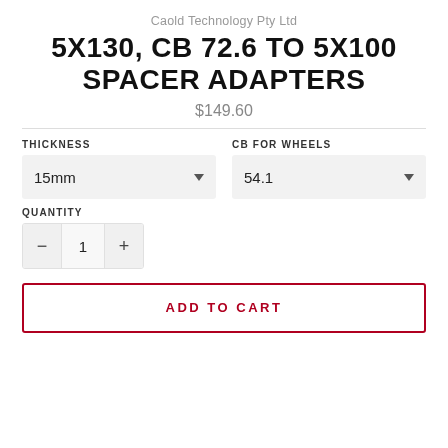Caold Technology Pty Ltd
5X130, CB 72.6 TO 5X100 SPACER ADAPTERS
$149.60
THICKNESS
15mm
CB FOR WHEELS
54.1
QUANTITY
1
ADD TO CART